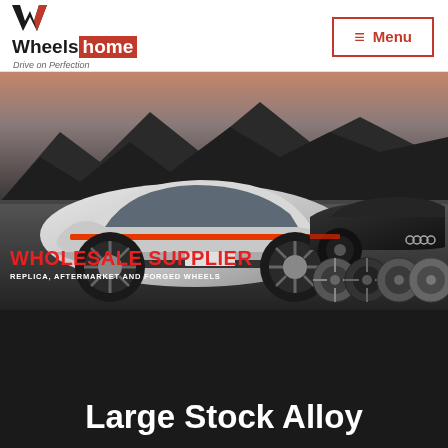[Figure (logo): WheelsHome logo with W icon in black and red, text 'Wheels' in black and 'home' in red background, tagline 'Drive on Perfection']
[Figure (other): Menu button with hamburger icon, outlined in red]
[Figure (photo): Hero banner showing two cars (silver Audi RS7 in foreground, dark Audi in background) on a dark mountain road, with text 'WHOLESALE SUPPLIER' in red and 'REPLICA, AFTERMARKET AND FORGED WHEELS' in white, and four alloy wheel images on the right side]
Large Stock Alloy